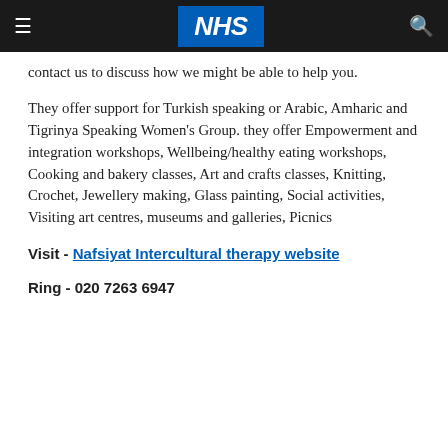NHS
contact us to discuss how we might be able to help you.
They offer support for Turkish speaking or Arabic, Amharic and Tigrinya Speaking Women's Group. they offer Empowerment and integration workshops, Wellbeing/healthy eating workshops, Cooking and bakery classes, Art and crafts classes, Knitting, Crochet, Jewellery making, Glass painting, Social activities, Visiting art centres, museums and galleries, Picnics
Visit - Nafsiyat Intercultural therapy website
Ring - 020 7263 6947